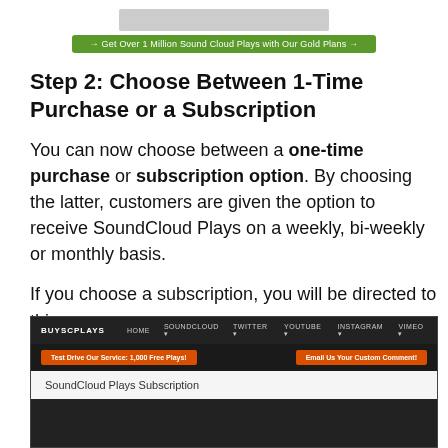[Figure (screenshot): Top banner with logo image and green button labeled '→ Get Over 1 Million Sound Cloud Plays with Our Gold Plans →']
Step 2: Choose Between 1-Time Purchase or a Subscription
You can now choose between a one-time purchase or subscription option. By choosing the latter, customers are given the option to receive SoundCloud Plays on a weekly, bi-weekly or monthly basis.
If you choose a subscription, you will be directed to this page:
[Figure (screenshot): Screenshot of BUYSCPLAYS website showing navigation bar with HOME, SOUNDCLOUD, TWITTER, YOUTUBE, INSTAGRAM, VIMEO links, two orange buttons 'Test Drive Our Service: 1,000 Free Plays!' and 'Email Us Your Custom Comment!', and a white content area with heading 'SoundCloud Plays Subscription']